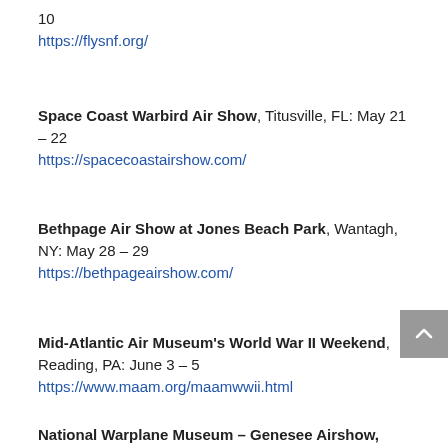10
https://flysnf.org/
Space Coast Warbird Air Show, Titusville, FL: May 21 – 22
https://spacecoastairshow.com/
Bethpage Air Show at Jones Beach Park, Wantagh, NY: May 28 – 29
https://bethpageairshow.com/
Mid-Atlantic Air Museum's World War II Weekend, Reading, PA: June 3 – 5
https://www.maam.org/maamwwii.html
National Warplane Museum – Genesee Airshow,